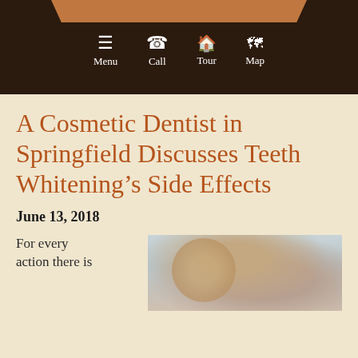Menu | Call | Tour | Map
A Cosmetic Dentist in Springfield Discusses Teeth Whitening’s Side Effects
June 13, 2018
For every action there is
[Figure (photo): Photo of a woman with braided hair]